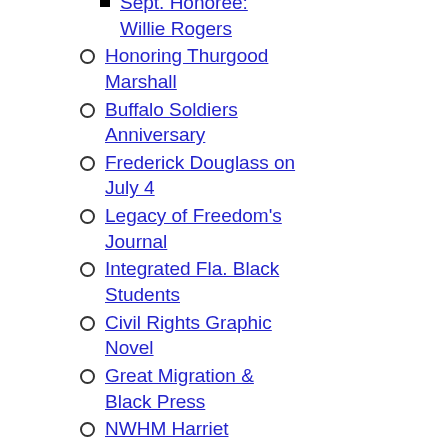Sept. Honoree: Willie Rogers
Honoring Thurgood Marshall
Buffalo Soldiers Anniversary
Frederick Douglass on July 4
Legacy of Freedom's Journal
Integrated Fla. Black Students
Civil Rights Graphic Novel
Great Migration & Black Press
NWHM Harriet Tubman Exhibit
Officer Shows Historian Side
Charleston: Huge Slave Port
Learning From Black Panthers
The Esau Jenkins Story
Black History Herb